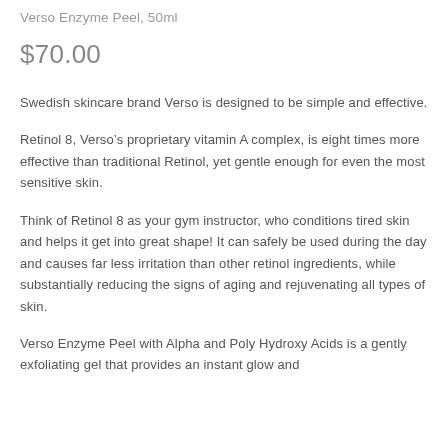Verso Enzyme Peel, 50ml
$70.00
Swedish skincare brand Verso is designed to be simple and effective.
Retinol 8, Verso’s proprietary vitamin A complex, is eight times more effective than traditional Retinol, yet gentle enough for even the most sensitive skin.
Think of Retinol 8 as your gym instructor, who conditions tired skin and helps it get into great shape! It can safely be used during the day and causes far less irritation than other retinol ingredients, while substantially reducing the signs of aging and rejuvenating all types of skin.
Verso Enzyme Peel with Alpha and Poly Hydroxy Acids is a gently exfoliating gel that provides an instant glow and